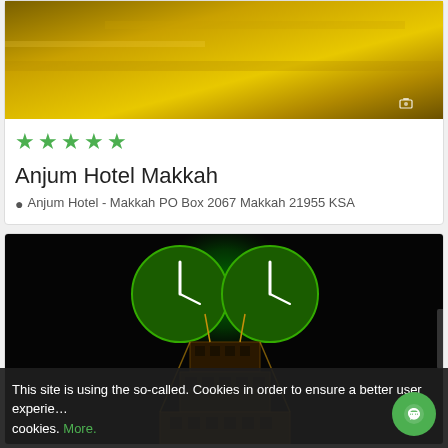[Figure (photo): Top portion of a hotel card with a golden-toned image background, showing image count indicator '11' in bottom right corner]
★★★★★
Anjum Hotel Makkah
Anjum Hotel - Makkah PO Box 2067 Makkah 21955 KSA
[Figure (photo): Nighttime photo of the Abraj Al-Bait clock tower in Makkah, illuminated with green clock face and golden lights on the tower structure against a dark sky]
This site is using the so-called. Cookies in order to ensure a better user experience cookies. More.